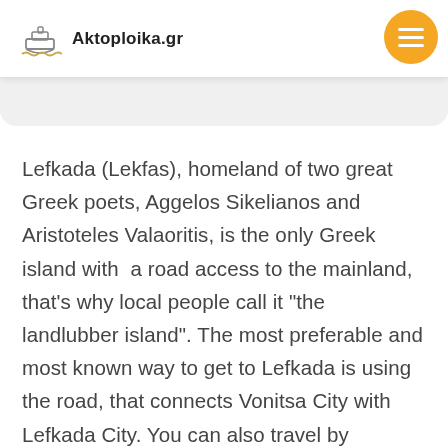Aktoploika.gr
Lefkada (Lekfas), homeland of two great Greek poets, Aggelos Sikelianos and Aristoteles Valaoritis, is the only Greek island with  a road access to the mainland, that's why local people call it "the landlubber island". The most preferable and most known way to get to Lefkada is using the road, that connects Vonitsa City with Lefkada City. You can also travel by airplane, to get to Actio Airport and then continue your trip by car or bus. What separates Lefkada from other islands